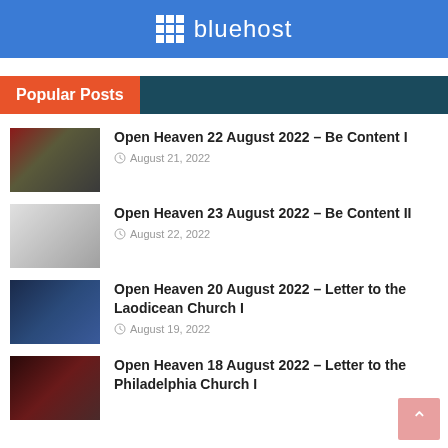[Figure (logo): Bluehost logo on blue background banner]
Popular Posts
Open Heaven 22 August 2022 – Be Content I | August 21, 2022
Open Heaven 23 August 2022 – Be Content II | August 22, 2022
Open Heaven 20 August 2022 – Letter to the Laodicean Church I | August 19, 2022
Open Heaven 18 August 2022 – Letter to the Philadelphia Church I